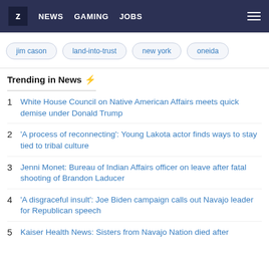Z NEWS GAMING JOBS
jim cason
land-into-trust
new york
oneida
Trending in News ⚡
1 White House Council on Native American Affairs meets quick demise under Donald Trump
2 'A process of reconnecting': Young Lakota actor finds ways to stay tied to tribal culture
3 Jenni Monet: Bureau of Indian Affairs officer on leave after fatal shooting of Brandon Laducer
4 'A disgraceful insult': Joe Biden campaign calls out Navajo leader for Republican speech
5 Kaiser Health News: Sisters from Navajo Nation died after…